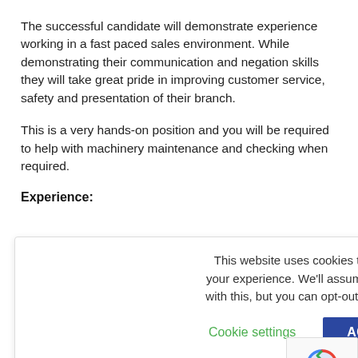The successful candidate will demonstrate experience working in a fast paced sales environment. While demonstrating their communication and negation skills they will take great pride in improving customer service, safety and presentation of their branch.
This is a very hands-on position and you will be required to help with machinery maintenance and checking when required.
Experience:
This website uses cookies to improve your experience. We'll assume you're ok with this, but you can opt-out if you wish.
Cookie settings   ACCEPT
• Strong PC skills with the ability to learn new